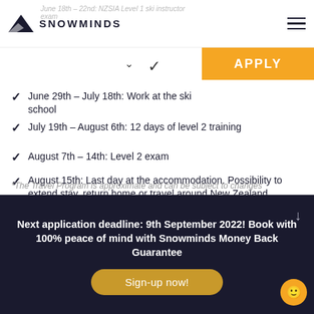SNOWMINDS — June 18th – 22nd: NZSIA Level 1 ski instructor exam
June 29th – July 18th: Work at the ski school
July 19th – August 6th: 12 days of level 2 training
August 7th – 14th: Level 2 exam
August 15th: Last day at the accommodation. Possibility to extend stay, return home or travel around New Zealand
*The Travel Program is approximate and can be subject to changes
Next application deadline: 9th September 2022! Book with 100% peace of mind with Snowminds Money Back Guarantee
Sign-up now!